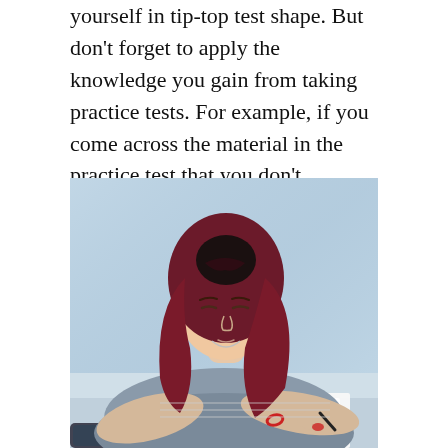yourself in tip-top test shape. But don't forget to apply the knowledge you gain from taking practice tests. For example, if you come across the material in the practice test that you don't understand, bring it up with your teacher as soon as possible.
[Figure (photo): A young woman with red and dark hair, wearing a grey sweater and a red bracelet, writing in a notebook at a desk. The background is a soft blue curtain.]